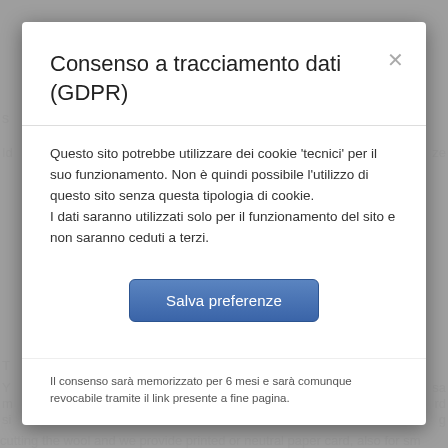Consenso a tracciamento dati (GDPR)
Questo sito potrebbe utilizzare dei cookie 'tecnici' per il suo funzionamento. Non è quindi possibile l'utilizzo di questo sito senza questa tipologia di cookie.
I dati saranno utilizzati solo per il funzionamento del sito e non saranno ceduti a terzi.
Salva preferenze
Il consenso sarà memorizzato per 6 mesi e sarà comunque revocabile tramite il link presente a fine pagina.